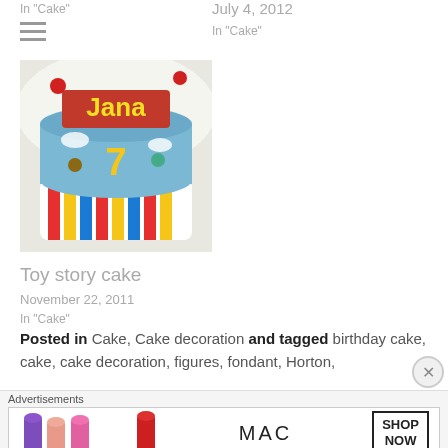In "Cake"
[Figure (illustration): Hamburger/menu icon (three horizontal lines)]
July 4, 2012
In "Cake"
[Figure (photo): A decorated birthday cake themed around Toy Story, with 'Jana 7' and character figures on a blue fondant base with colorful stripes.]
Toy story cake
November 22, 2011
In "Cake"
Posted in Cake, Cake decoration and tagged birthday cake, cake, cake decoration, figures, fondant, Horton,
[Figure (screenshot): Advertisement banner for MAC cosmetics showing lipsticks and 'SHOP NOW' text]
Advertisements